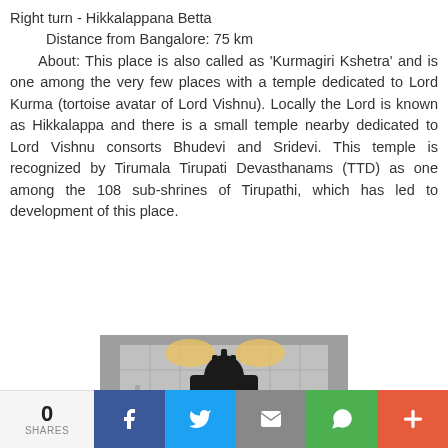Right turn - Hikkalappana Betta
    Distance from Bangalore: 75 km
    About: This place is also called as ‘Kurmagiri Kshetra’ and is one among the very few places with a temple dedicated to Lord Kurma (tortoise avatar of Lord Vishnu). Locally the Lord is known as Hikkalappa and there is a small temple nearby dedicated to Lord Vishnu consorts Bhudevi and Sridevi. This temple is recognized by Tirumala Tirupati Devasthanams (TTD) as one among the 108 sub-shrines of Tirupathi, which has led to development of this place.
[Figure (photo): Dark idol/deity statue in a temple interior with tiled walls and decorative background]
0 SHARES | Facebook | Twitter | Email | WhatsApp | More